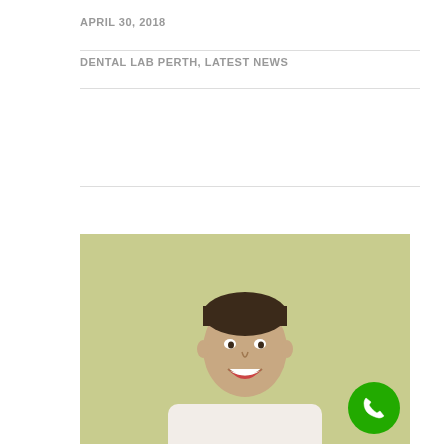APRIL 30, 2018
DENTAL LAB PERTH, LATEST NEWS
[Figure (photo): A smiling young man in a white sweater standing against a light olive/green background, showing bright white teeth, with a green phone button icon in the bottom right corner.]